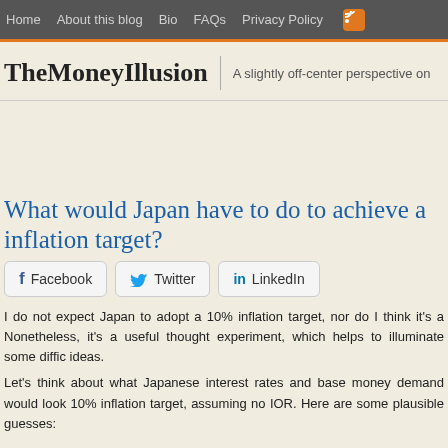Home  About this blog  Bio  FAQs  Privacy Policy
TheMoneyIllusion
A slightly off-center perspective on
What would Japan have to do to achieve a inflation target?
Facebook  Twitter  LinkedIn
I do not expect Japan to adopt a 10% inflation target, nor do I think it's a Nonetheless, it's a useful thought experiment, which helps to illuminate some diffic ideas.
Let's think about what Japanese interest rates and base money demand would look 10% inflation target, assuming no IOR. Here are some plausible guesses: